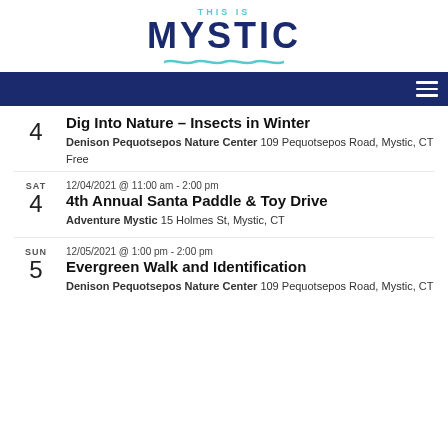[Figure (logo): This Is Mystic logo with wave underline]
Navigation bar with hamburger menu
4 | Dig Into Nature – Insects in Winter | Denison Pequotsepos Nature Center 109 Pequotsepos Road, Mystic, CT | Free
SAT 4 | 12/04/2021 @ 11:00 am - 2:00 pm | 4th Annual Santa Paddle & Toy Drive | Adventure Mystic 15 Holmes St, Mystic, CT
SUN 5 | 12/05/2021 @ 1:00 pm - 2:00 pm | Evergreen Walk and Identification | Denison Pequotsepos Nature Center 109 Pequotsepos Road, Mystic, CT